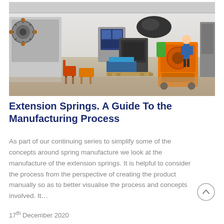[Figure (photo): Industrial manufacturing workshop with CNC spring-making machines, equipment, pallets, and a worker in a blue shirt standing near orange machinery on a concrete floor.]
Extension Springs. A Guide To the Manufacturing Process
As part of our continuing series to simplify some of the concepts around spring manufacture we look at the manufacture of the extension springs. It is helpful to consider the process from the perspective of creating the product manually so as to better visualise the process and concepts involved. It…
17th December 2020